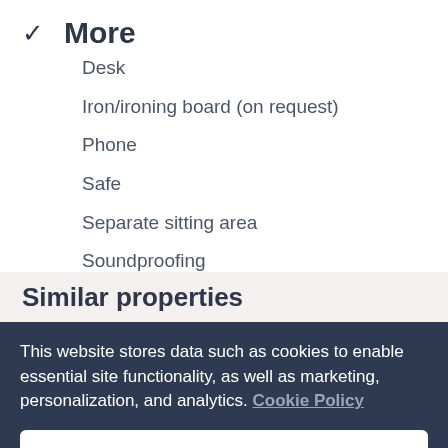✓ More
Desk
Iron/ironing board (on request)
Phone
Safe
Separate sitting area
Soundproofing
Similar properties
This website stores data such as cookies to enable essential site functionality, as well as marketing, personalization, and analytics. Cookie Policy
Accept
Deny